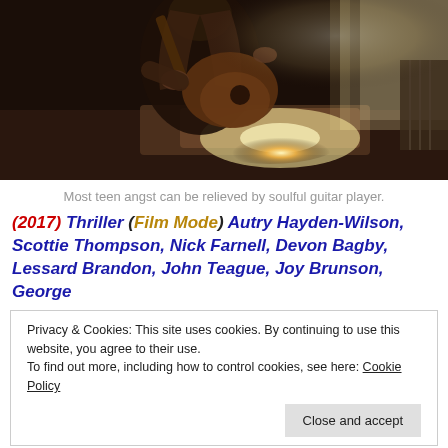[Figure (photo): Person playing acoustic guitar, backlit by bright window light, sitting on a bed in a dimly lit room with warm tones.]
Most teen angst can be relieved by soulful guitar player.
(2017) Thriller (Film Mode) Autry Hayden-Wilson, Scottie Thompson, Nick Farnell, Devon Bagby, Lessard Brandon, John Teague, Joy Brunson, George
Privacy & Cookies: This site uses cookies. By continuing to use this website, you agree to their use.
To find out more, including how to control cookies, see here: Cookie Policy
your problems; they tend to follow you wherever you go,